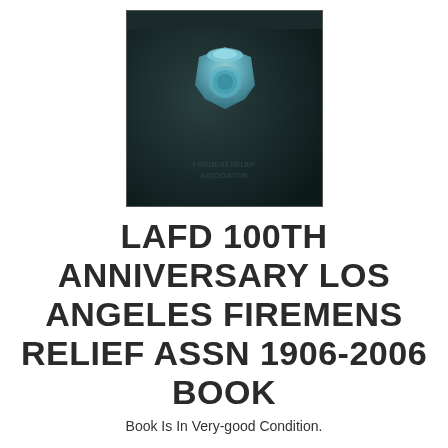[Figure (photo): Dark navy/black hardcover book with a teal/blue embossed firefighter badge on the front cover, with faint embossed text below the badge.]
LAFD 100TH ANNIVERSARY LOS ANGELES FIREMENS RELIEF ASSN 1906-2006 BOOK
Book Is In Very-good Condition.
$119.75